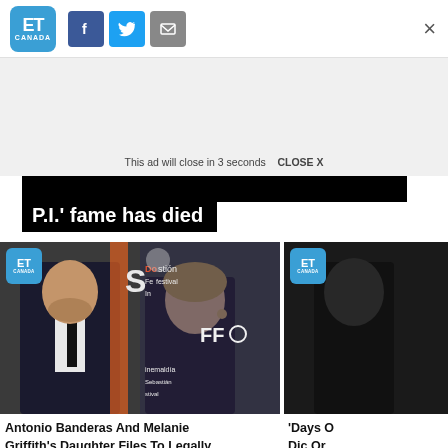ET Canada — social share bar with Facebook, Twitter, Email icons and close (×) button
This ad will close in 3 seconds   CLOSE X
P.I.' fame has died
[Figure (photo): Photo of Antonio Banderas in a dark suit and tie standing next to a young woman (Stella Banderas) in a black dress, at a film festival event with 'Donostia / San Sebastián Festival' backdrop. ET Canada logo badge in top-left corner.]
Antonio Banderas And Melanie Griffith's Daughter Files To Legally
[Figure (photo): Partial photo (right edge cut off) with ET Canada logo badge; partial dark background.]
'Days O Dic Or